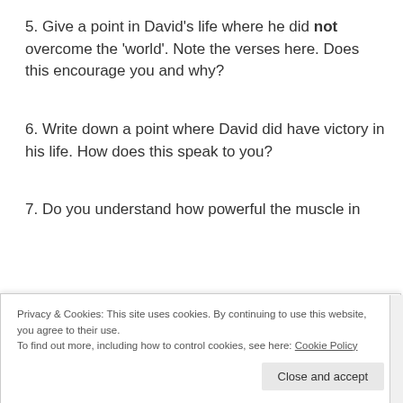5.  Give a point in David's life where he did not overcome the 'world'. Note the verses here. Does this encourage you and why?
6.  Write down a point where David did have victory in his life. How does this speak to you?
7.  Do you understand how powerful the muscle in
Privacy & Cookies: This site uses cookies. By continuing to use this website, you agree to their use.
To find out more, including how to control cookies, see here: Cookie Policy
Close and accept